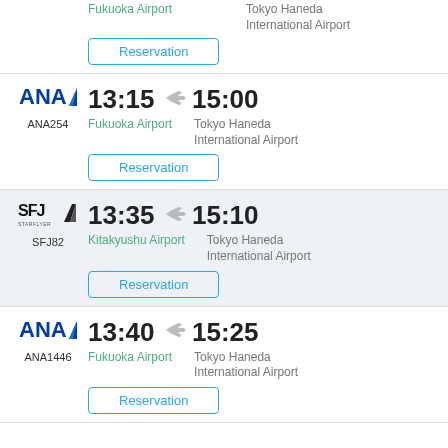Fukuoka Airport (departure) | Tokyo Haneda International Airport (arrival) | Reservation button (partial top row)
[Figure (logo): ANA logo with blue text and blue chevron/tail fin, flight ANA254]
13:15 → 15:00, Fukuoka Airport → Tokyo Haneda International Airport, ANA254, Reservation
[Figure (logo): SFJ Star Flyer logo with black stylized text and fin, flight SFJ82]
13:35 → 15:10, Kitakyushu Airport → Tokyo Haneda International Airport, SFJ82, Reservation
[Figure (logo): ANA logo with blue text and blue chevron/tail fin, flight ANA1446]
13:40 → 15:25, Fukuoka Airport → Tokyo Haneda International Airport, ANA1446, Reservation